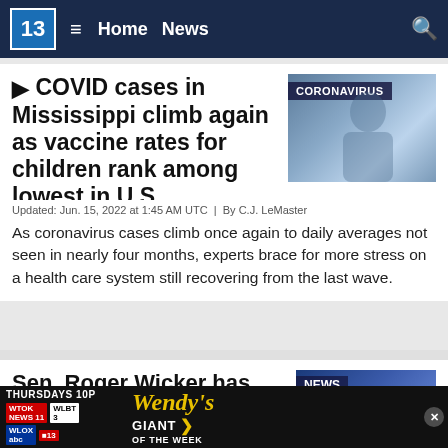13 | Home | News
COVID cases in Mississippi climb again as vaccine rates for children rank among lowest in U.S.
[Figure (photo): Coronavirus vaccination photo with CORONAVIRUS label overlay]
Updated: Jun. 15, 2022 at 1:45 AM UTC | By C.J. LeMaster
As coronavirus cases climb once again to daily averages not seen in nearly four months, experts brace for more stress on a health care system still recovering from the last wave.
Sen. Roger Wicker has been diagnosed with COVID-19
[Figure (photo): News photo of Sen. Roger Wicker with NEWS label overlay]
Updated
Wicker
[Figure (other): Advertisement banner: THURSDAYS 10P - WTOK NEWS 11, WLBT 3, WLOX abc 13 - Wendy's GIANT OF THE WEEK]